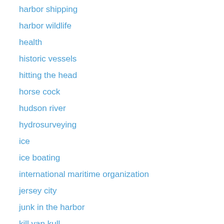harbor shipping
harbor wildlife
health
historic vessels
hitting the head
horse cock
hudson river
hydrosurveying
ice
ice boating
international maritime organization
jersey city
junk in the harbor
kill van kull
knots
learn from them
liberty state park
lighters
lightship